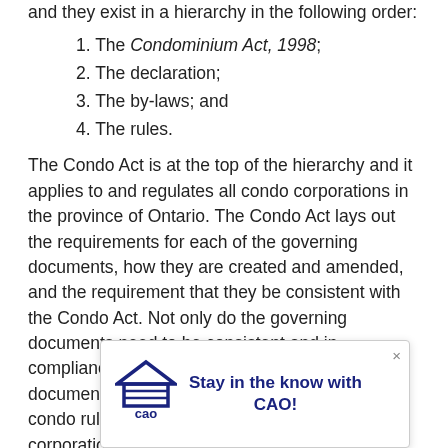and they exist in a hierarchy in the following order:
1. The Condominium Act, 1998;
2. The declaration;
3. The by-laws; and
4. The rules.
The Condo Act is at the top of the hierarchy and it applies to and regulates all condo corporations in the province of Ontario. The Condo Act lays out the requirements for each of the governing documents, how they are created and amended, and the requirement that they be consistent with the Condo Act. Not only do the governing documents need to be consistent and in compliance with the Condo Act, but also with any document higher in the hierarchy. For example, a condo rule cannot contradict the condo corporation's by-laws, declaration, or the Condo Act.
Each ... and t... ffer.
[Figure (other): CAO popup banner reading 'Stay in the know with CAO!' with a house/CAO logo on the left and a close button (×) in the top right corner.]